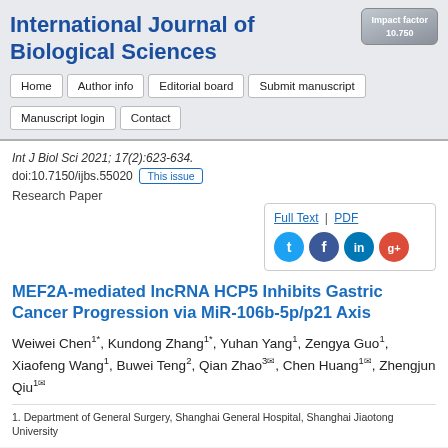Impact factor 10.750
International Journal of Biological Sciences
Home
Author info
Editorial board
Submit manuscript
Manuscript login
Contact
Int J Biol Sci 2021; 17(2):623-634. doi:10.7150/ijbs.55020  This issue
Full Text | PDF
Research Paper
MEF2A-mediated lncRNA HCP5 Inhibits Gastric Cancer Progression via MiR-106b-5p/p21 Axis
Weiwei Chen1*, Kundong Zhang1*, Yuhan Yang1, Zengya Guo1, Xiaofeng Wang1, Buwei Teng2, Qian Zhao3, Chen Huang1, Zhengjun Qiu1
1. Department of General Surgery, Shanghai General Hospital, Shanghai Jiaotong University